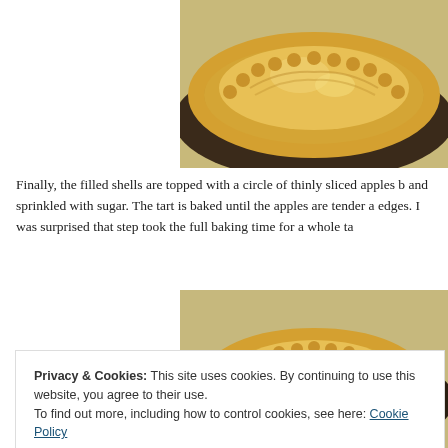[Figure (photo): Close-up photo of an unbaked apple tart with crimped pastry edges and sugar-dusted top crust, viewed from above on a baking surface.]
Finally, the filled shells are topped with a circle of thinly sliced apples b and sprinkled with sugar. The tart is baked until the apples are tender a edges. I was surprised that step took the full baking time for a whole ta
[Figure (photo): Second photo showing similar unbaked apple tart with crimped pastry edges, slightly different angle, on parchment paper.]
Privacy & Cookies: This site uses cookies. By continuing to use this website, you agree to their use.
To find out more, including how to control cookies, see here: Cookie Policy
Close and accept